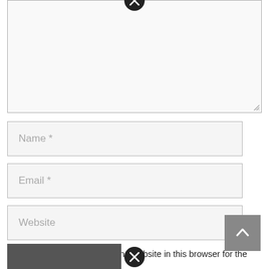[Figure (screenshot): Textarea input box with a close (X) icon at the top center and a resize grip at the bottom right]
Name *
Email *
Website
Save my name, email, and website in this browser for the next time I comment.
[Figure (screenshot): Grey scroll-to-top button with an upward chevron arrow]
[Figure (screenshot): Grey submit/post comment button at the bottom left]
[Figure (screenshot): Close (X) icon at the bottom center]